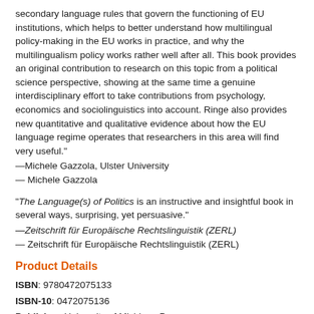secondary language rules that govern the functioning of EU institutions, which helps to better understand how multilingual policy-making in the EU works in practice, and why the multilingualism policy works rather well after all. This book provides an original contribution to research on this topic from a political science perspective, showing at the same time a genuine interdisciplinary effort to take contributions from psychology, economics and sociolinguistics into account. Ringe also provides new quantitative and qualitative evidence about how the EU language regime operates that researchers in this area will find very useful."
—Michele Gazzola, Ulster University
— Michele Gazzola
"The Language(s) of Politics is an instructive and insightful book in several ways, surprising, yet persuasive."
—Zeitschrift für Europäische Rechtslinguistik (ZERL)
— Zeitschrift für Europäische Rechtslinguistik (ZERL)
Product Details
ISBN: 9780472075133
ISBN-10: 0472075136
Publisher: University of Michigan Press